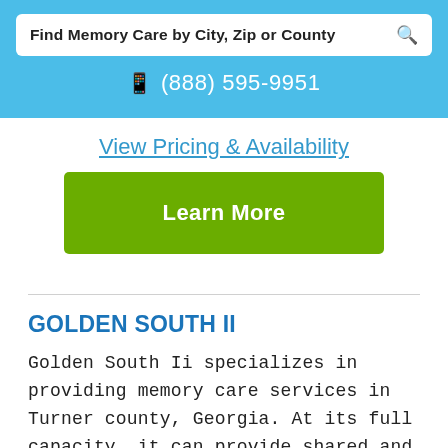Find Memory Care by City, Zip or County
☎ (888) 595-9951
View Pricing & Availability
Learn More
GOLDEN SOUTH II
Golden South Ii specializes in providing memory care services in Turner county, Georgia. At its full capacity, it can provide shared and private accommodations to a maximum of 24 senior citizens. Golden South Ii allows pets and can provide personalized meal plans, special Alzheimer's programs to decrease